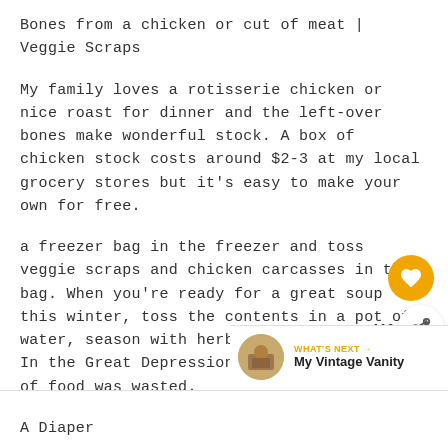Bones from a chicken or cut of meat | Veggie Scraps
My family loves a rotisserie chicken or nice roast for dinner and the left-over bones make wonderful stock. A box of chicken stock costs around $2-3 at my local grocery stores but it's easy to make your own for free.
a freezer bag in the freezer and toss veggie scraps and chicken carcasses in the bag. When you're ready for a great soup this winter, toss the contents in a pot of water, season with herbs, salt and pepper. In the Great Depression house, not a scrap of food was wasted.
A Diaper
This one won't be for everyone but the truth is,